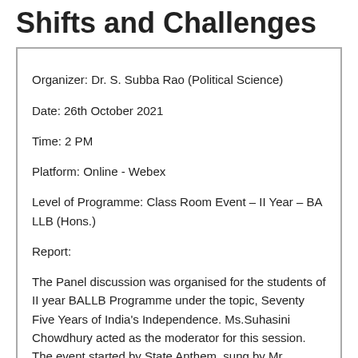Shifts and Challenges
Organizer: Dr. S. Subba Rao (Political Science)
Date: 26th October 2021
Time: 2 PM
Platform: Online - Webex
Level of Programme: Class Room Event – II Year – BA LLB (Hons.)
Report:
The Panel discussion was organised for the students of II year BALLB Programme under the topic, Seventy Five Years of India's Independence. Ms.Suhasini Chowdhury acted as the moderator for this session. The event started by State Anthem, sung by Mr. Hareesh Krishnan.B. Ms. Yazhini delivered the welcome address by speaking on India's role in International sphere and how it has influenced foreign affairs. The entire discussion was divided